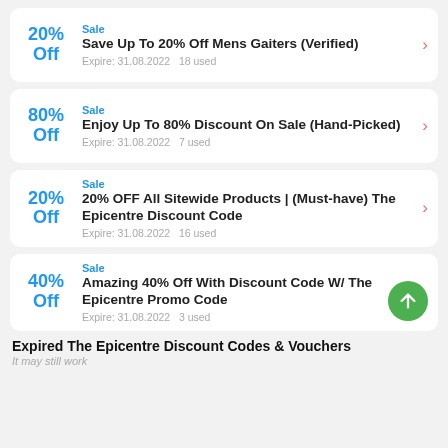Sale | 20% Off | Save Up To 20% Off Mens Gaiters (Verified) | Expire: 31.08.2022  18 used
Sale | 80% Off | Enjoy Up To 80% Discount On Sale (Hand-Picked) | Expire: 31.08.2022  7 used
Sale | 20% Off | 20% OFF All Sitewide Products | (Must-have) The Epicentre Discount Code | Expire: 31.08.2022  16 used
Sale | 40% Off | Amazing 40% Off With Discount Code W/ The Epicentre Promo Code | Expire: 31.08.2022  3 used
Expired The Epicentre Discount Codes & Vouchers
It may still work